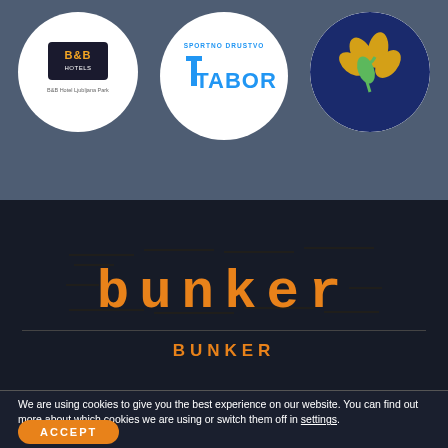[Figure (logo): B&B Hotels logo in white circle]
[Figure (logo): Sportno Drustvo Tabor logo with blue T icon and TABOR text in white circle]
[Figure (logo): Nature/plant logo with golden leaves on dark blue circle background]
[Figure (logo): Bunker logo - stylized orange text 'bunker' with distressed/brick texture effect on dark background]
BUNKER
We are using cookies to give you the best experience on our website. You can find out more about which cookies we are using or switch them off in settings.
ACCEPT